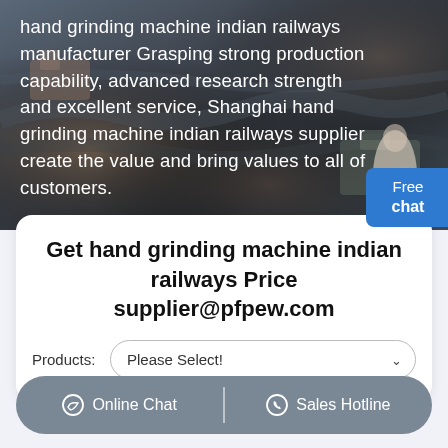[Figure (photo): Aerial view of a quarry or mining site with heavy machinery, serving as hero background image]
hand grinding machine indian railways manufacturer Grasping strong production capability, advanced research strength and excellent service, Shanghai hand grinding machine indian railways supplier create the value and bring values to all of customers.
Free chat
Get hand grinding machine indian railways Price supplier@pfpew.com
Products: Please Select!
Online Chat  |  Sales Hotline